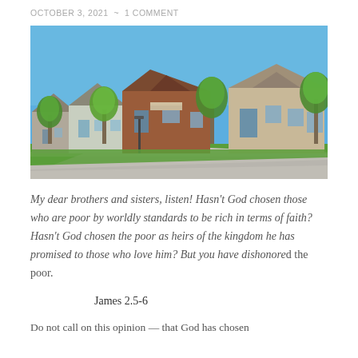OCTOBER 3, 2021 ~ 1 COMMENT
[Figure (photo): A suburban street lined with large brick and stone houses with green lawns, trees, and a blue sky.]
My dear brothers and sisters, listen! Hasn't God chosen those who are poor by worldly standards to be rich in terms of faith? Hasn't God chosen the poor as heirs of the kingdom he has promised to those who love him? But you have dishonored the poor.
James 2.5-6
Do not call on this opinion — that God has chosen...